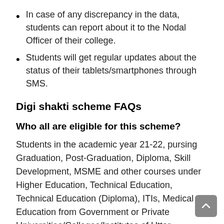In case of any discrepancy in the data, students can report about it to the Nodal Officer of their college.
Students will get regular updates about the status of their tablets/smartphones through SMS.
Digi shakti scheme FAQs
Who all are eligible for this scheme?
Students in the academic year 21-22, pursing Graduation, Post-Graduation, Diploma, Skill Development, MSME and other courses under Higher Education, Technical Education, Technical Education (Diploma), ITIs, Medical Education from Government or Private Universities/Colleges/Institutes of Uttar Pradesh, and any other stakeholders selected by GoUP, are eligible for this scheme.